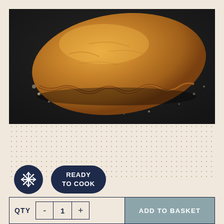[Figure (photo): A golden-brown Cornish pasty sitting on a dark slate board with flour dust scattered around it]
CORNISH PASTY - PARKER'S FINEST
$7.99
[Figure (infographic): Snowflake icon badge (frozen product) and 'READY TO COOK' pill badge, both in dark navy on dotted cream background]
QTY  -  1  +  ADD TO BASKET